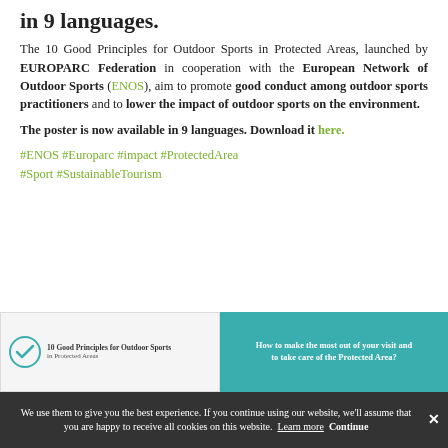in 9 languages.
The 10 Good Principles for Outdoor Sports in Protected Areas, launched by EUROPARC Federation in cooperation with the European Network of Outdoor Sports (ENOS), aim to promote good conduct among outdoor sports practitioners and to lower the impact of outdoor sports on the environment.
The poster is now available in 9 languages. Download it here.
#ENOS #Europarc #impact #ProtectedArea #Sport #SustainableTourism
[Figure (illustration): Two images: left shows a poster with a checkmark circle logo and text '10 Good Principles for Outdoor Sports in Protected Areas'; right shows a teal/turquoise panel with white bold text 'How to make the most out of your visit and to take care of the Protected Area?']
We use them to give you the best experience. If you continue using our website, we'll assume that you are happy to receive all cookies on this website. Learn more  Continue